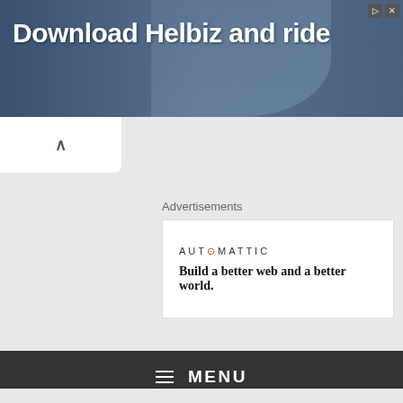[Figure (screenshot): Advertisement banner for Helbiz scooter app with text 'Download Helbiz and ride' on dark blue/gray background with person on scooter]
[Figure (screenshot): Automattic advertisement: logo 'AUTOMATTIC' with tagline 'Build a better web and a better world.']
MENU
URBAN
Privacy & Cookies: This site uses cookies. By continuing to use this website, you agree to their use.
To find out more, including how to control cookies, see here: Cookie Policy
Close and accept